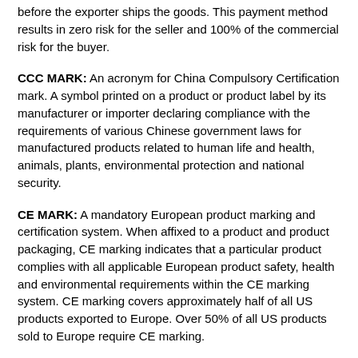before the exporter ships the goods. This payment method results in zero risk for the seller and 100% of the commercial risk for the buyer.
CCC MARK: An acronym for China Compulsory Certification mark. A symbol printed on a product or product label by its manufacturer or importer declaring compliance with the requirements of various Chinese government laws for manufactured products related to human life and health, animals, plants, environmental protection and national security.
CE MARK: A mandatory European product marking and certification system. When affixed to a product and product packaging, CE marking indicates that a particular product complies with all applicable European product safety, health and environmental requirements within the CE marking system. CE marking covers approximately half of all US products exported to Europe. Over 50% of all US products sold to Europe require CE marking.